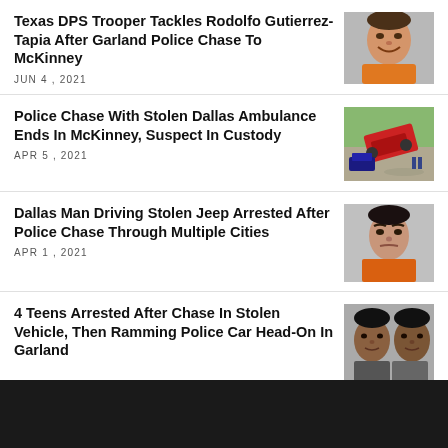Texas DPS Trooper Tackles Rodolfo Gutierrez-Tapia After Garland Police Chase To McKinney
JUN 4, 2021
[Figure (photo): Mugshot of a man in an orange jumpsuit, smiling]
Police Chase With Stolen Dallas Ambulance Ends In McKinney, Suspect In Custody
APR 5, 2021
[Figure (photo): Aerial view of an overturned red fire truck or ambulance at a scene with police vehicles]
Dallas Man Driving Stolen Jeep Arrested After Police Chase Through Multiple Cities
APR 1, 2021
[Figure (photo): Mugshot of a man in an orange shirt with a stern expression]
4 Teens Arrested After Chase In Stolen Vehicle, Then Ramming Police Car Head-On In Garland
[Figure (photo): Two young male teenagers side by side in front of a gray background]